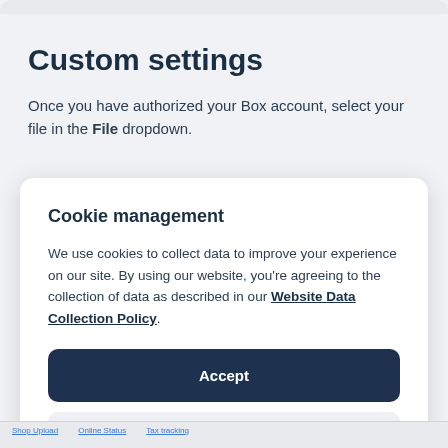Custom settings
Once you have authorized your Box account, select your file in the File dropdown.
Cookie management
We use cookies to collect data to improve your experience on our site. By using our website, you're agreeing to the collection of data as described in our Website Data Collection Policy.
Accept
Settings